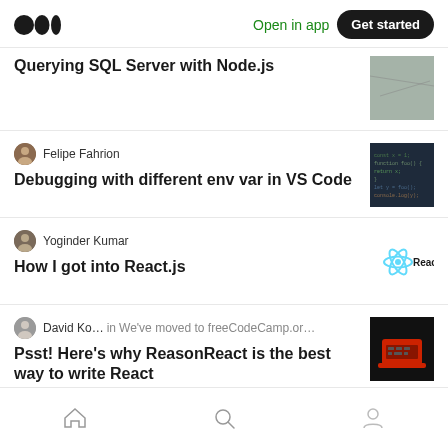Medium — Open in app | Get started
Querying SQL Server with Node.js
Felipe Fahrion
Debugging with different env var in VS Code
Yoginder Kumar
How I got into React.js
David Ko... in We've moved to freeCodeCamp.or...
Psst! Here's why ReasonReact is the best way to write React
Home | Search | Profile